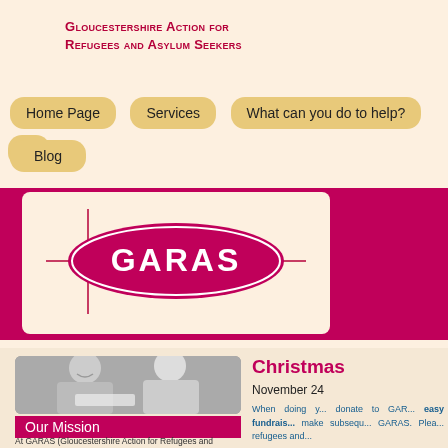Gloucestershire Action for Refugees and Asylum Seekers
Home Page
Services
What can you do to help?
R...
Blog
[Figure (logo): GARAS logo — oval shape in magenta/crimson with GARAS text and crosshair lines]
[Figure (photo): Black and white photo of two young men, one smiling, appearing to review a document together]
Our Mission
At GARAS (Gloucestershire Action for Refugees and Asylum Seekers) we offer support to those seeking asylum in Gloucestershire, welcoming them when
Christma...
November 24...
When doing y... donate to GAR... easy fundrais... make subsequ... GARAS. Plea... refugees and...